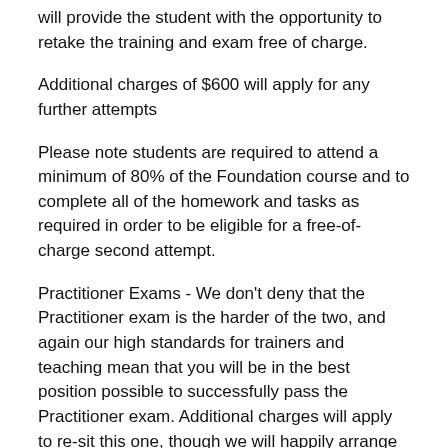will provide the student with the opportunity to retake the training and exam free of charge.
Additional charges of $600 will apply for any further attempts
Please note students are required to attend a minimum of 80% of the Foundation course and to complete all of the homework and tasks as required in order to be eligible for a free-of-charge second attempt.
Practitioner Exams - We don't deny that the Practitioner exam is the harder of the two, and again our high standards for trainers and teaching mean that you will be in the best position possible to successfully pass the Practitioner exam. Additional charges will apply to re-sit this one, though we will happily arrange further coaching for you at no charge.